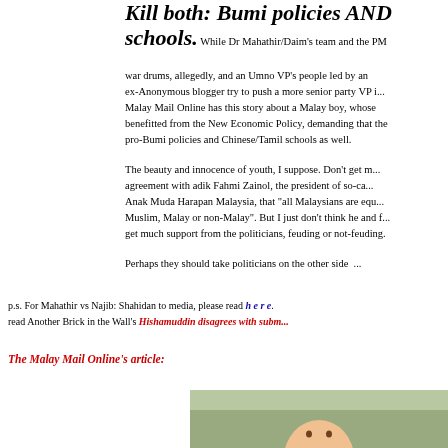Kill both: Bumi policies AND schools.
While Dr Mahathir/Daim's team and the PM war drums, allegedly, and an Umno VP's people led by an ex-Anonymous blogger try to push a more senior party VP i... Malay Mail Online has this story about a Malay boy, whose benefitted from the New Economic Policy, demanding that the pro-Bumi policies and Chinese/Tamil schools as well.
The beauty and innocence of youth, I suppose. Don't get m... agreement with adik Fahmi Zainol, the president of so-ca... Anak Muda Harapan Malaysia, that "all Malaysians are equ... Muslim, Malay or non-Malay". But I just don't think he and f... get much support from the politicians, feuding or not-feuding.
Perhaps they should take politicians on the other side  ...
p.s. For Mahathir vs Najib: Shahidan to media, please read h e r e. read Another Brick in the Wall's Hishamuddin disagrees with subm...
The Malay Mail Online's article:
[Figure (photo): Partial photo of a person's face/head visible at the bottom right of the page]